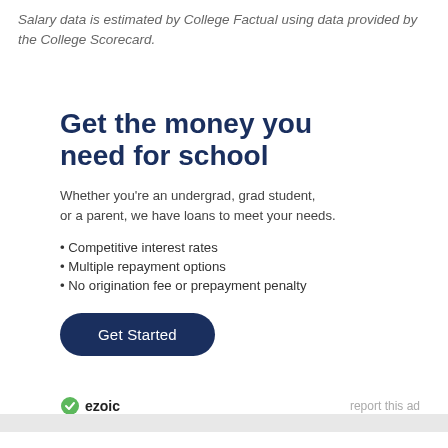Salary data is estimated by College Factual using data provided by the College Scorecard.
Get the money you need for school
Whether you’re an undergrad, grad student, or a parent, we have loans to meet your needs.
Competitive interest rates
Multiple repayment options
No origination fee or prepayment penalty
Get Started
ezoic   report this ad